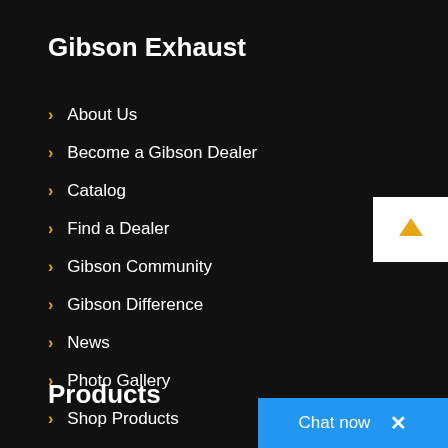Gibson Exhaust
About Us
Become a Gibson Dealer
Catalog
Find a Dealer
Gibson Community
Gibson Difference
News
Photo Gallery
Shop Products
Video Gallery
[Figure (other): Scroll to top button with orange upward arrow on white background]
Products
[Figure (other): Chat now button - blue bar with 'Chat now' text and X close button]